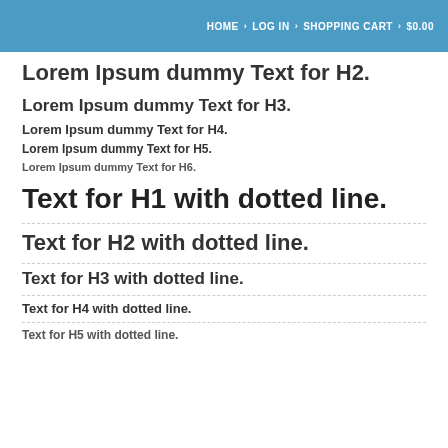HOME > LOG IN > SHOPPING CART > $0.00
Lorem Ipsum dummy Text for H2.
Lorem Ipsum dummy Text for H3.
Lorem Ipsum dummy Text for H4.
Lorem Ipsum dummy Text for H5.
Lorem Ipsum dummy Text for H6.
Text for H1 with dotted line.
Text for H2 with dotted line.
Text for H3 with dotted line.
Text for H4 with dotted line.
Text for H5 with dotted line.